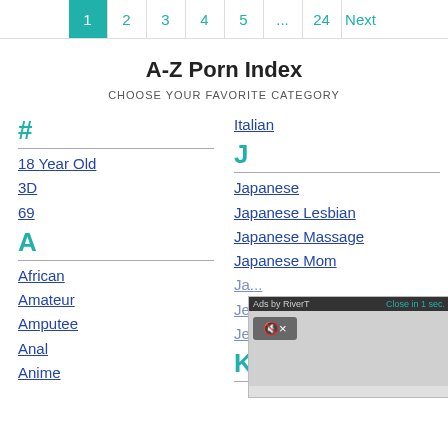1 2 3 4 5 ... 24 Next
A-Z Porn Index
CHOOSE YOUR FAVORITE CATEGORY
#
18 Year Old
3D
69
A
African
Amateur
Amputee
Anal
Anime
Italian
J
Japanese
Japanese Lesbian
Japanese Massage
Japanese Mom
K
[Figure (screenshot): Ad overlay with 'Ads by RiverT' label and 'Close in 1 sec.' button, mute icon, and gray video area]